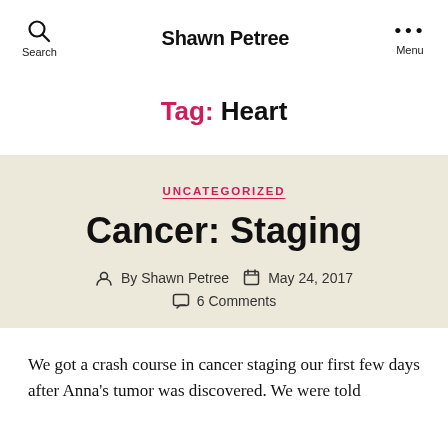Shawn Petree
Tag: Heart
UNCATEGORIZED
Cancer: Staging
By Shawn Petree  May 24, 2017
6 Comments
We got a crash course in cancer staging our first few days after Anna's tumor was discovered. We were told